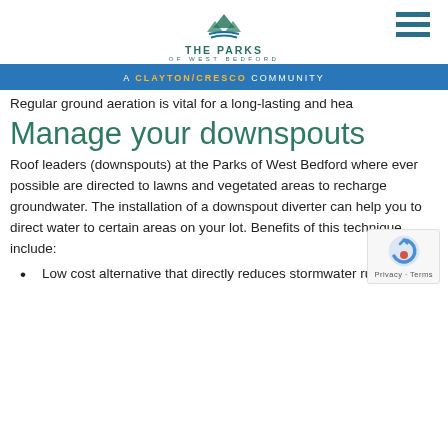THE PARKS OF WEST BEDFORD — A CLAYTON/CRESCO COMMUNITY
Regular ground aeration is vital for a long-lasting and hea
Manage your downspouts
Roof leaders (downspouts) at the Parks of West Bedford where ever possible are directed to lawns and vegetated areas to recharge groundwater. The installation of a downspout diverter can help you to direct water to certain areas on your lot. Benefits of this technique include:
Low cost alternative that directly reduces stormwater runoff.